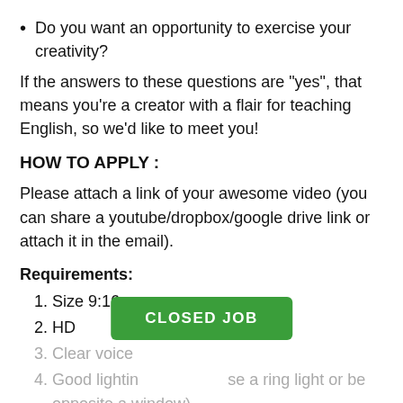Do you want an opportunity to exercise your creativity?
If the answers to these questions are "yes", that means you're a creator with a flair for teaching English, so we'd like to meet you!
HOW TO APPLY :
Please attach a link of your awesome video (you can share a youtube/dropbox/google drive link or attach it in the email).
Requirements:
Size 9:16
HD
Clear voice
Good lighting (you can use a ring light or be opposite a window)